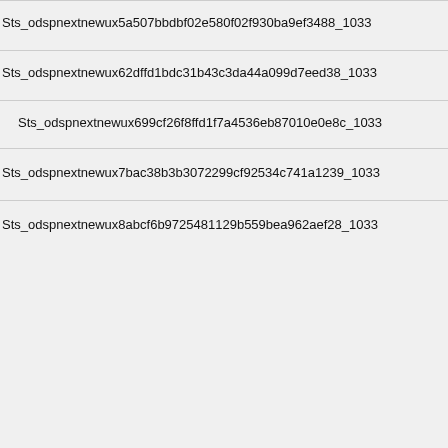Sts_odspnextnewux5a507bbdbf02e580f02f930ba9ef3488_1033
Sts_odspnextnewux62dffd1bdc31b43c3da44a099d7eed38_1033
Sts_odspnextnewux699cf26f8ffd1f7a4536eb87010e0e8c_1033
Sts_odspnextnewux7bac38b3b3072299cf92534c741a1239_1033
Sts_odspnextnewux8abcf6b9725481129b559bea962aef28_1033